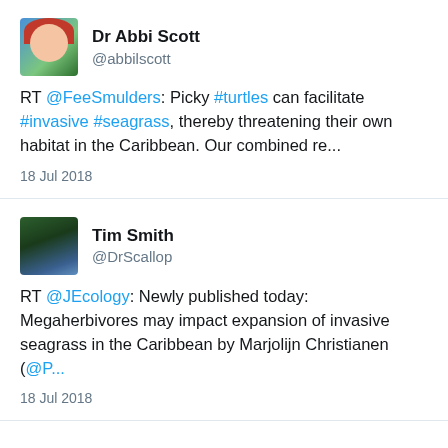[Figure (photo): Avatar of Dr Abbi Scott - cartoon illustration of a woman with red hair against a blue and green background]
Dr Abbi Scott
@abbilscott
RT @FeeSmulders: Picky #turtles can facilitate #invasive #seagrass, thereby threatening their own habitat in the Caribbean. Our combined re...
18 Jul 2018
[Figure (photo): Avatar of Tim Smith - photo of green plants and water/blue background]
Tim Smith
@DrScallop
RT @JEcology: Newly published today: Megaherbivores may impact expansion of invasive seagrass in the Caribbean by Marjolijn Christianen (@P...
18 Jul 2018